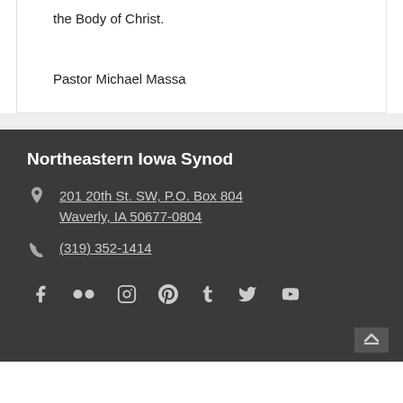the Body of Christ.
Pastor Michael Massa
Northeastern Iowa Synod
201 20th St. SW, P.O. Box 804 Waverly, IA 50677-0804
(319) 352-1414
[Figure (other): Social media icons: Facebook, Flickr, Instagram, Pinterest, Tumblr, Twitter, YouTube]